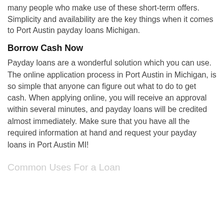many people who make use of these short-term offers. Simplicity and availability are the key things when it comes to Port Austin payday loans Michigan.
Borrow Cash Now
Payday loans are a wonderful solution which you can use. The online application process in Port Austin in Michigan, is so simple that anyone can figure out what to do to get cash. When applying online, you will receive an approval within several minutes, and payday loans will be credited almost immediately. Make sure that you have all the required information at hand and request your payday loans in Port Austin MI!
Common Uses For a Loan
[Figure (other): Green Apply Now button overlay]
Applying does NOT affect your credit score!
No credit check to apply.
Major Purchases